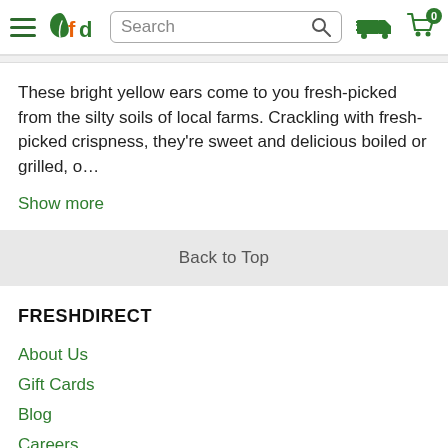FreshDirect header with logo, search bar, delivery icon, and cart icon (0 items)
These bright yellow ears come to you fresh-picked from the silty soils of local farms. Crackling with fresh-picked crispness, they're sweet and delicious boiled or grilled, o…
Show more
Back to Top
FRESHDIRECT
About Us
Gift Cards
Blog
Careers